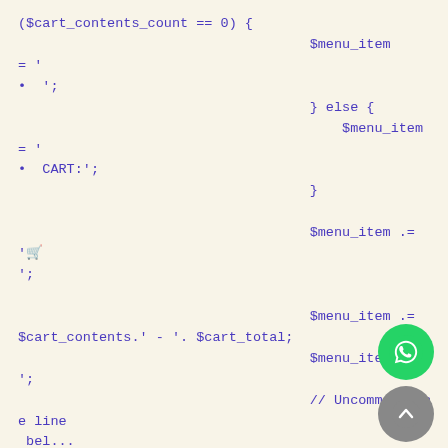($cart_contents_count == 0) {
                                    $menu_item
= '
• ';
                                    } else {
                                        $menu_item
= '
• CART:';
                                    }

                                    $menu_item .= '
';

                                    $menu_item .= $cart_contents.' - '. $cart_total;
                                    $menu_item .= '
';
                                    // Uncomment the line
 bel...